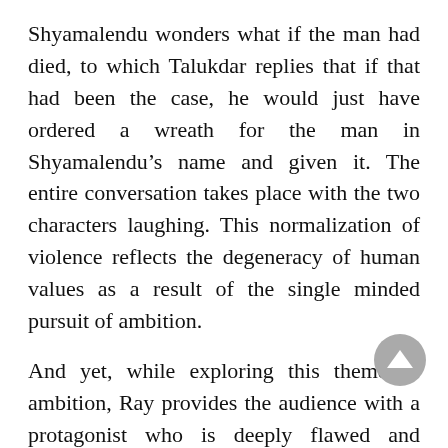Shyamalendu wonders what if the man had died, to which Talukdar replies that if that had been the case, he would just have ordered a wreath for the man in Shyamalendu’s name and given it. The entire conversation takes place with the two characters laughing. This normalization of violence reflects the degeneracy of human values as a result of the single minded pursuit of ambition.
And yet, while exploring this theme of ambition, Ray provides the audience with a protagonist who is deeply flawed and complex. Often, we are presented ambitious characters as distinctly one-